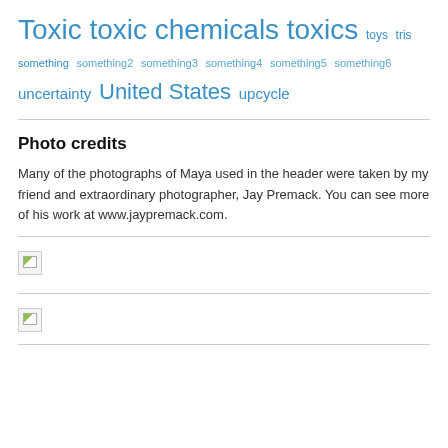Toxic  toxic  chemicals  toxics  toys  tris  uncertainty  United States  upcycle
Photo credits
Many of the photographs of Maya used in the header were taken by my friend and extraordinary photographer, Jay Premack. You can see more of his work at www.jaypremack.com.
[Figure (photo): Broken/missing image placeholder (small icon)]
[Figure (photo): Broken/missing image placeholder (small icon, wide row)]